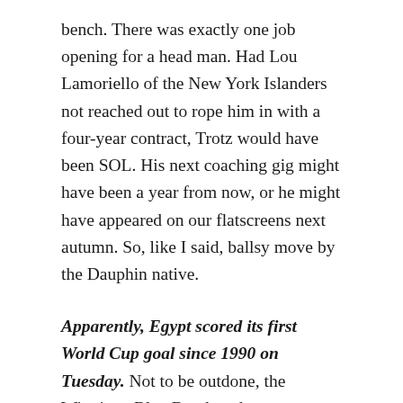bench. There was exactly one job opening for a head man. Had Lou Lamoriello of the New York Islanders not reached out to rope him in with a four-year contract, Trotz would have been SOL. His next coaching gig might have been a year from now, or he might have appeared on our flatscreens next autumn. So, like I said, ballsy move by the Dauphin native.
Apparently, Egypt scored its first World Cup goal since 1990 on Tuesday. Not to be outdone, the Winnipeg Blue Bombers have discovered their first quarterback since 1990. Yes, for the second successive start, rookie Chris Streveler did boffo business behind centre in Winnipeg FC's 56-10 rag dolling of the Montreal Alouettes on Friday night. So, memo to Darian Durant: Stay home, keep the